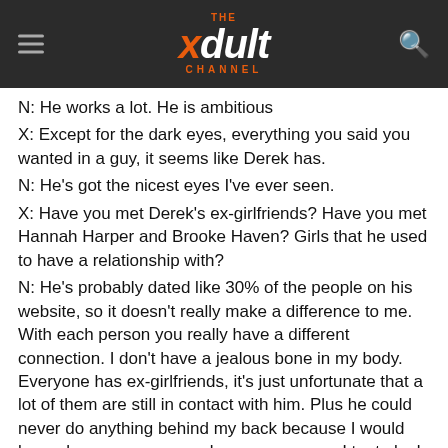THE xdult CHANNEL
N: He works a lot. He is ambitious
X: Except for the dark eyes, everything you said you wanted in a guy, it seems like Derek has.
N: He's got the nicest eyes I've ever seen.
X: Have you met Derek's ex-girlfriends? Have you met Hannah Harper and Brooke Haven? Girls that he used to have a relationship with?
N: He's probably dated like 30% of the people on his website, so it doesn't really make a difference to me. With each person you really have a different connection. I don't have a jealous bone in my body. Everyone has ex-girlfriends, it's just unfortunate that a lot of them are still in contact with him. Plus he could never do anything behind my back because I would know, because everyone knows everyone. I try to look on the bright side, not the negative.
X: Isn't it funny that you move here from England and end up with a guy from England?